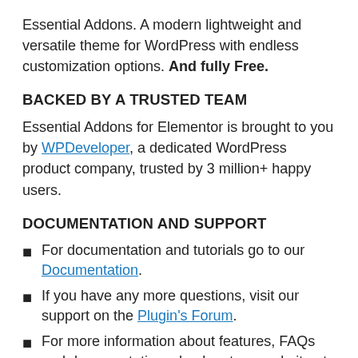Essential Addons. A modern lightweight and versatile theme for WordPress with endless customization options. And fully Free.
BACKED BY A TRUSTED TEAM
Essential Addons for Elementor is brought to you by WPDeveloper, a dedicated WordPress product company, trusted by 3 million+ happy users.
DOCUMENTATION AND SUPPORT
For documentation and tutorials go to our Documentation.
If you have any more questions, visit our support on the Plugin's Forum.
For more information about features, FAQs and documentation, check out our website at Essential Addons for Elementor.